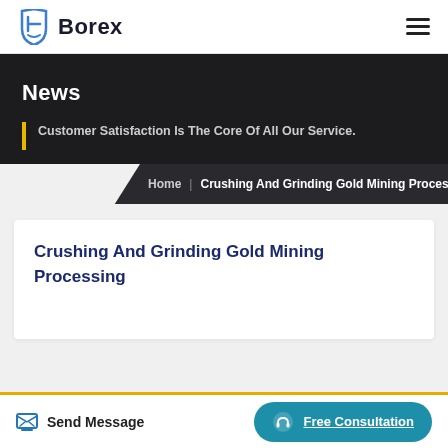Borex
News
Customer Satisfaction Is The Core Of All Our Service.
Home | Crushing And Grinding Gold Mining Processing
Crushing And Grinding Gold Mining Processing
Send Message
Free Consultation